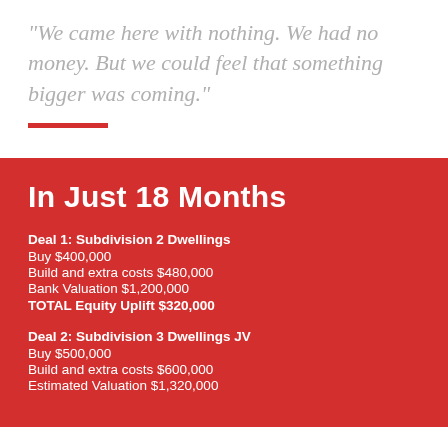“We came here with nothing. We had no money. But we could feel that something bigger was coming.”
In Just 18 Months
Deal 1: Subdivision 2 Dwellings
Buy $400,000
Build and extra costs $480,000
Bank Valuation $1,200,000
TOTAL Equity Uplift $320,000
Deal 2: Subdivision 3 Dwellings JV
Buy $500,000
Build and extra costs $600,000
Estimated Valuation $1,320,000